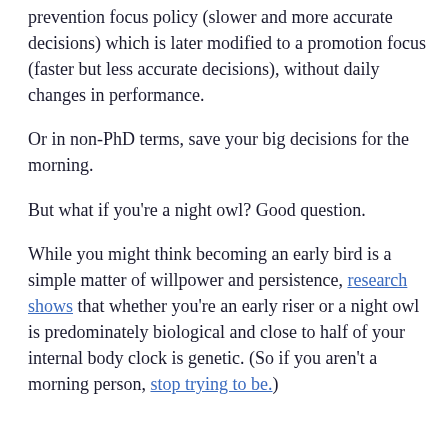prevention focus policy (slower and more accurate decisions) which is later modified to a promotion focus (faster but less accurate decisions), without daily changes in performance.
Or in non-PhD terms, save your big decisions for the morning.
But what if you're a night owl? Good question.
While you might think becoming an early bird is a simple matter of willpower and persistence, research shows that whether you're an early riser or a night owl is predominately biological and close to half of your internal body clock is genetic. (So if you aren't a morning person, stop trying to be.)